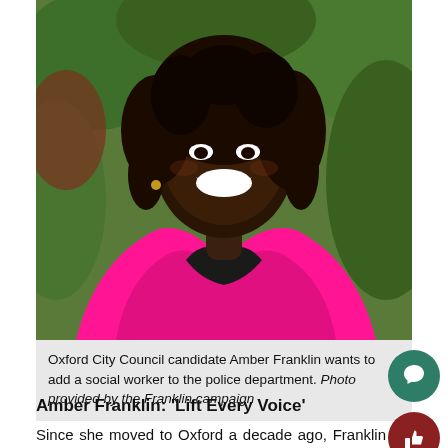[Figure (photo): Portrait photo of Amber Franklin, a woman wearing a bright pink blazer over a black top, smiling broadly, with natural curly hair, outdoors with green foliage background.]
Oxford City Council candidate Amber Franklin wants to add a social worker to the police department. Photo provided by the Franklin campaign
Amber Franklin: ‘Lift Every Voice’
Since she moved to Oxford a decade ago, Franklin has been an active part of her community. She is a professor of speech pathology and audiology at Miami, which is what brought her to the town. She also is a founding